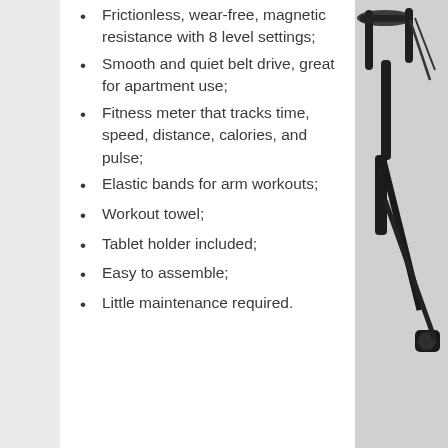Frictionless, wear-free, magnetic resistance with 8 level settings;
Smooth and quiet belt drive, great for apartment use;
Fitness meter that tracks time, speed, distance, calories, and pulse;
Elastic bands for arm workouts;
Workout towel;
Tablet holder included;
Easy to assemble;
Little maintenance required.
[Figure (photo): Partial view of a stationary exercise bike shown on the right side of the page, dark/black colored, showing handlebars, seat post, and resistance mechanism.]